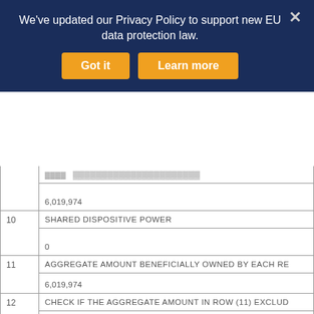[Figure (screenshot): Cookie consent banner overlay with dark navy background. Text: 'We've updated our Privacy Policy to support new EU data protection law.' Two orange buttons: 'Got it' and 'Learn more'. Close X button in top-right.]
|  |  | 6,019,974 |
| 10 | SHARED DISPOSITIVE POWER | 0 |
| 11 | AGGREGATE AMOUNT BENEFICIALLY OWNED BY EACH RE... | 6,019,974 |
| 12 | CHECK IF THE AGGREGATE AMOUNT IN ROW (11) EXCLUD... | ☐ |
| 13 | PERCENT OF CLASS REPRESENTED BY AMOUNT IN ROW (... |  |